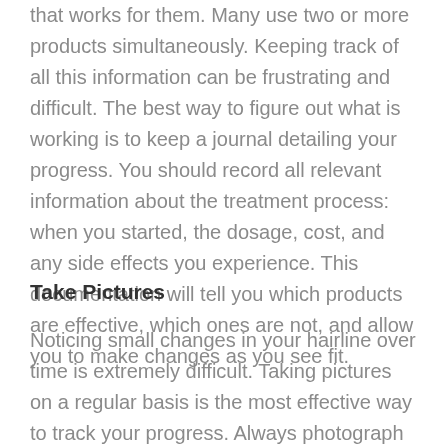that works for them. Many use two or more products simultaneously. Keeping track of all this information can be frustrating and difficult. The best way to figure out what is working is to keep a journal detailing your progress. You should record all relevant information about the treatment process: when you started, the dosage, cost, and any side effects you experience. This documentation will tell you which products are effective, which ones are not, and allow you to make changes as you see fit.
Take Pictures
Noticing small changes in your hairline over time is extremely difficult. Taking pictures on a regular basis is the most effective way to track your progress. Always photograph your head from the